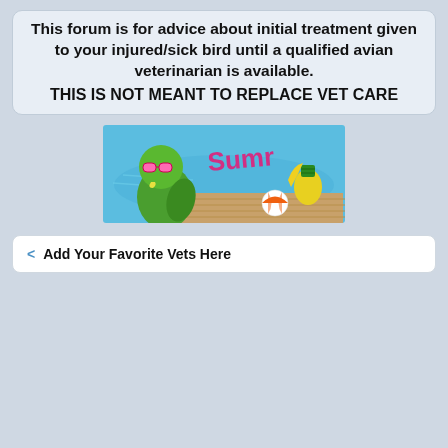This forum is for advice about initial treatment given to your injured/sick bird until a qualified avian veterinarian is available. THIS IS NOT MEANT TO REPLACE VET CARE
[Figure (illustration): Summer-themed banner showing a green parrot wearing sunglasses next to a pool, with tropical fruits and a beach ball, and 'Sumr' text in pink graffiti style against a blue pool background.]
< Add Your Favorite Vets Here